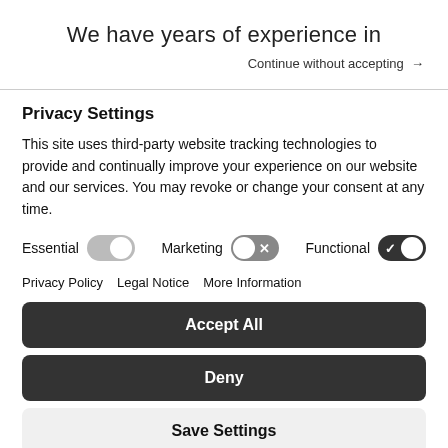We have years of experience in
Continue without accepting →
Privacy Settings
This site uses third-party website tracking technologies to provide and continually improve your experience on our website and our services. You may revoke or change your consent at any time.
[Figure (infographic): Three toggle switches: Essential (on/grey), Marketing (off with X), Functional (on/dark with checkmark)]
Privacy Policy   Legal Notice   More Information
Accept All
Deny
Save Settings
Powered by Usercentrics Consent Management